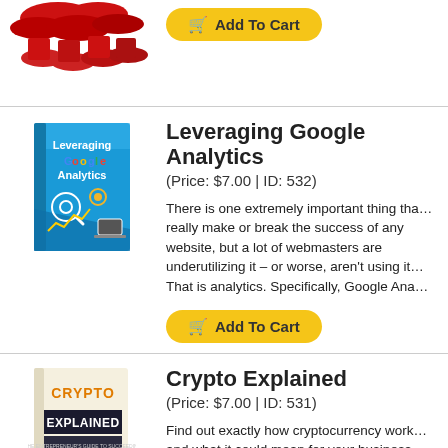[Figure (photo): Partial view of red disc product bundle with multiple discs at top of page]
[Figure (other): Add To Cart yellow button at top section]
[Figure (illustration): Book cover: Leveraging Google Analytics - blue cover with analytics/search icons]
Leveraging Google Analytics
(Price: $7.00 | ID: 532)
There is one extremely important thing tha… really make or break the success of any website, but a lot of webmasters are underutilizing it – or worse, aren't using it… That is analytics. Specifically, Google Ana…
[Figure (other): Add To Cart yellow button]
[Figure (illustration): Book cover: Crypto Explained - beige/cream cover with orange and dark text, shows cryptocurrency coin]
Crypto Explained
(Price: $7.00 | ID: 531)
Find out exactly how cryptocurrency work… and what it could mean for your business… Discover the main types of digital currency…